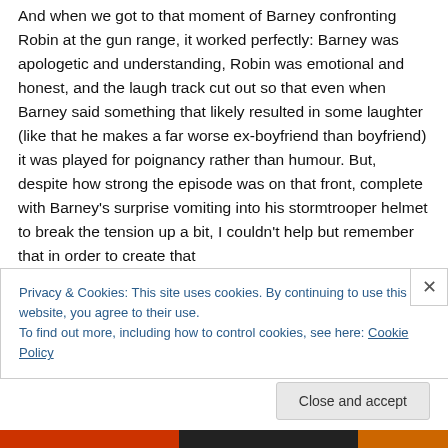And when we got to that moment of Barney confronting Robin at the gun range, it worked perfectly: Barney was apologetic and understanding, Robin was emotional and honest, and the laugh track cut out so that even when Barney said something that likely resulted in some laughter (like that he makes a far worse ex-boyfriend than boyfriend) it was played for poignancy rather than humour. But, despite how strong the episode was on that front, complete with Barney's surprise vomiting into his stormtrooper helmet to break the tension up a bit, I couldn't help but remember that in order to create that
Privacy & Cookies: This site uses cookies. By continuing to use this website, you agree to their use.
To find out more, including how to control cookies, see here: Cookie Policy
Close and accept